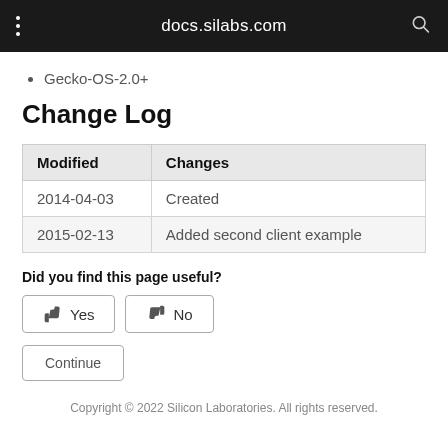docs.silabs.com
Gecko-OS-2.0+
Change Log
| Modified | Changes |
| --- | --- |
| 2014-04-03 | Created |
| 2015-02-13 | Added second client example |
Did you find this page useful?
Yes   No
Continue
Copyright © 2022 Silicon Laboratories. All rights reserved.